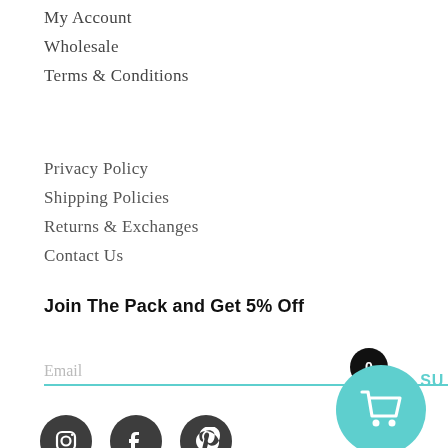My Account
Wholesale
Terms & Conditions
Privacy Policy
Shipping Policies
Returns & Exchanges
Contact Us
Join The Pack and Get 5% Off
Email
[Figure (other): Social media icons: Instagram, Facebook, Pinterest in dark circles; shopping cart button in teal circle with item count badge showing 0]